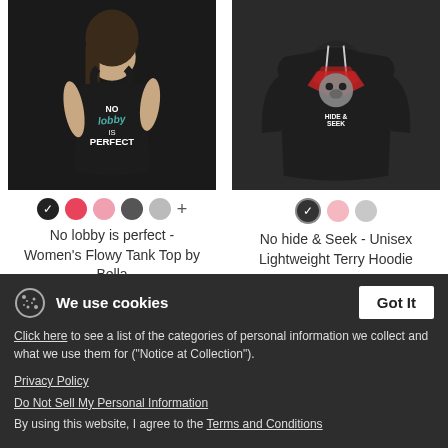[Figure (photo): Woman wearing black tank top with 'No lobby is perfect' text design]
[Figure (photo): Black unisex lightweight terry hoodie with animal hide & seek graphic]
No lobby is perfect - Women's Flowy Tank Top by Bella
$27.99
No hide & Seek - Unisex Lightweight Terry Hoodie
$42.99
We use cookies
Click here to see a list of the categories of personal information we collect and what we use them for ("Notice at Collection").
Privacy Policy
Do Not Sell My Personal Information
By using this website, I agree to the Terms and Conditions